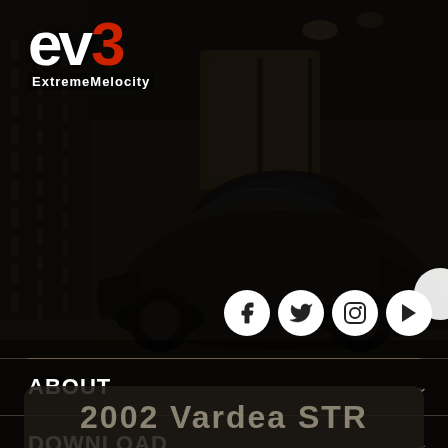[Figure (screenshot): EV3 Extreme Velocity game website screenshot showing dark garage background with a sports car, logo top left, social media icons (Facebook, Twitter, Instagram, YouTube), navigation menu items (ABOUT, DOWNLOAD, PLAYING THE GAME, SUPPORT), and a bottom card showing '2002 Vardea STR']
eV3 ExtremeMelocity
ABOUT
DOWNLOAD
PLAYING THE GAME
SUPPORT
2002 Vardea STR